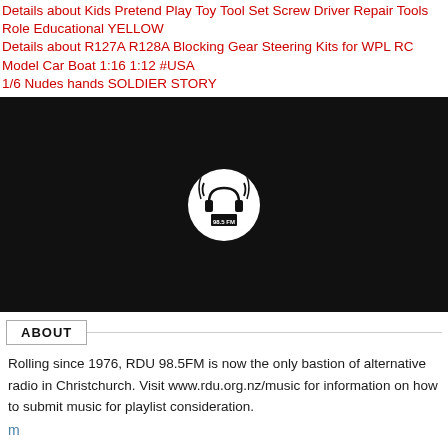Details about  Kids Pretend Play Toy Tool Set Screw Driver Repair Tools Role Educational YELLOW
Details about  R127A R128A Blocking Gear Steering Kits for WPL RC Model Car Boat 1:16 1:12 #USA
1/6 Nudes hands SOLDIER STORY
[Figure (logo): RDU 98.5FM radio station logo — white circle with black stylized radio tower/headphone graphic on black background]
ABOUT
Rolling since 1976, RDU 98.5FM is now the only bastion of alternative radio in Christchurch. Visit www.rdu.org.nz/music for information on how to submit music for playlist consideration.
m